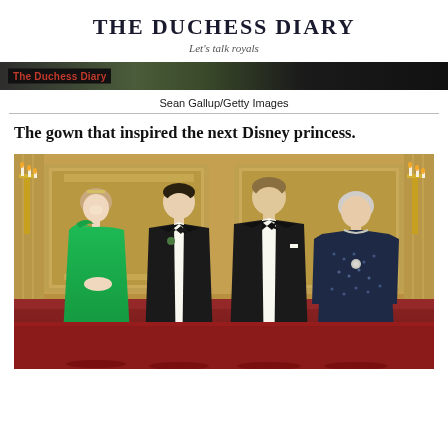THE DUCHESS DIARY
Let's talk royals
[Figure (screenshot): Navigation bar with 'The Duchess Diary' label on dark background with green and black tones]
Sean Gallup/Getty Images
The gown that inspired the next Disney princess.
[Figure (photo): Four people posing in an ornate palace room: a woman in a green one-shoulder gown, two men in black tuxedos, and an older woman in a dark navy/black sequined dress. Gilded wall sconces and elaborate wall panels are visible in the background.]